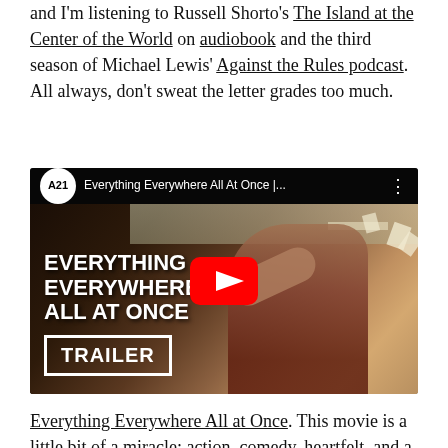and I'm listening to Russell Shorto's The Island at the Center of the World on audiobook and the third season of Michael Lewis' Against the Rules podcast. All always, don't sweat the letter grades too much.
[Figure (screenshot): YouTube video thumbnail/player for 'Everything Everywhere All at Once' trailer by A24. Shows a woman in a dynamic pose, with bold white text reading 'EVERYTHING EVERYWHERE ALL AT ONCE' and a 'TRAILER' box. A YouTube play button is centered.]
Everything Everywhere All at Once. This movie is a little bit of a miracle: action, comedy, heartfelt, and a